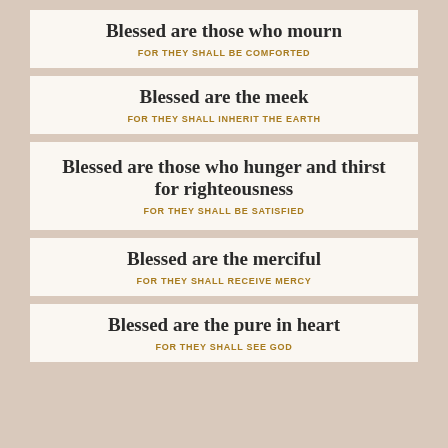Blessed are those who mourn
FOR THEY SHALL BE COMFORTED
Blessed are the meek
FOR THEY SHALL INHERIT THE EARTH
Blessed are those who hunger and thirst for righteousness
FOR THEY SHALL BE SATISFIED
Blessed are the merciful
FOR THEY SHALL RECEIVE MERCY
Blessed are the pure in heart
FOR THEY SHALL SEE GOD